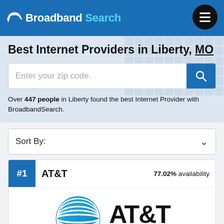Broadband Search
Best Internet Providers in Liberty, MO
Enter your zip code.
Over 447 people in Liberty found the best Internet Provider with BroadbandSearch.
Sort By:
#1  AT&T  77.02% availability
[Figure (logo): AT&T globe logo with concentric blue ellipses, and AT&T text with 'Authorized Retailer' subtitle]